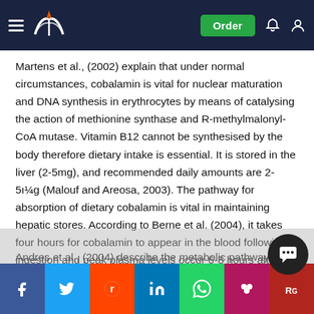Order
Martens et al., (2002) explain that under normal circumstances, cobalamin is vital for nuclear maturation and DNA synthesis in erythrocytes by means of catalysing the action of methionine synthase and R-methylmalonyl-CoA mutase. Vitamin B12 cannot be synthesised by the body therefore dietary intake is essential. It is stored in the liver (2-5mg), and recommended daily amounts are 2-5μg (Malouf and Areosa, 2003). The pathway for absorption of dietary cobalamin is vital in maintaining hepatic stores. According to Berne et al. (2004), it takes four hours for cobalamin to appear in the blood following ingestion and peak plasma levels occur 6-8 hours after a meal.
Andres et al., (2004) describe the metabolic pathway of cobalamin when ingested in the diet…